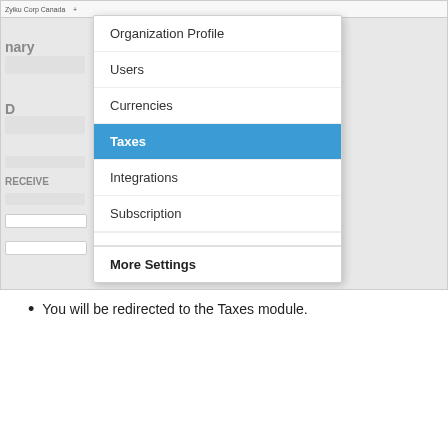[Figure (screenshot): Screenshot of a web application showing a dropdown navigation menu with items: Organization Profile, Users, Currencies, Taxes (highlighted in blue), Integrations, Subscription, and More Settings. The background shows a partial view of an app interface.]
You will be redirected to the Taxes module.
[Figure (screenshot): Screenshot of the Taxes module page showing a Taxes header, tabs for Tax Rates, Tax Exemptions, Tax Agencies, a New Tax button, Use Aviador Integration link, a dropdown with options (Make Tax Default, Make Live, Make Tax Exemption, Make Tax Agency), and an empty table with columns Tax Name, Tax Agency, Rate. Empty state message visible.]